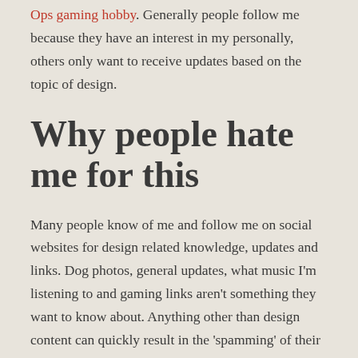Ops gaming hobby. Generally people follow me because they have an interest in my personally, others only want to receive updates based on the topic of design.
Why people hate me for this
Many people know of me and follow me on social websites for design related knowledge, updates and links. Dog photos, general updates, what music I'm listening to and gaming links aren't something they want to know about. Anything other than design content can quickly result in the 'spamming' of their accounts.
Wh...